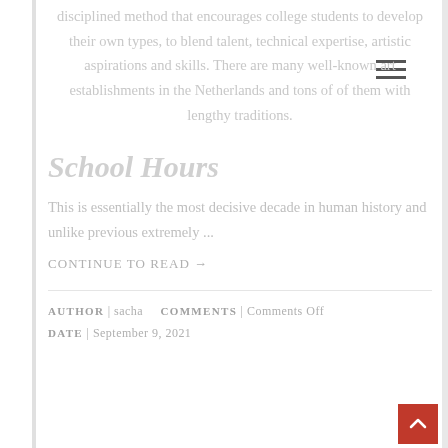disciplined method that encourages college students to develop their own types, to blend talent, technical expertise, artistic aspirations and skills. There are many well-known art establishments in the Netherlands and tons of of them with lengthy traditions.
School Hours
This is essentially the most decisive decade in human history and unlike previous extremely ...
Continue to read →
AUTHOR | sacha   COMMENTS | Comments Off DATE | September 9, 2021